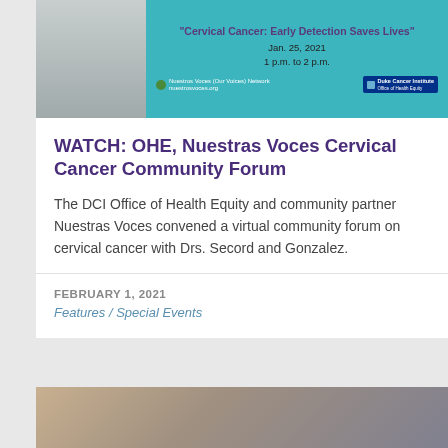[Figure (photo): Event banner for Cervical Cancer community forum showing a doctor in white coat on the left, and event details on teal background on the right including title 'Cervical Cancer: Early Detection Saves Lives', date Jan. 25, 2021, 1 p.m. to 2 p.m., with Nuestras Voces and Duke Cancer Institute logos]
WATCH: OHE, Nuestras Voces Cervical Cancer Community Forum
The DCI Office of Health Equity and community partner Nuestras Voces convened a virtual community forum on cervical cancer with Drs. Secord and Gonzalez.
FEBRUARY 1, 2021
Features / Special Events
[Figure (photo): Partial image at bottom showing medical equipment or hands with medical devices, partially cropped]